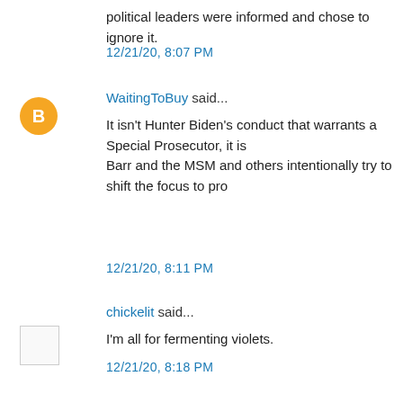political leaders were informed and chose to ignore it.
12/21/20, 8:07 PM
WaitingToBuy said...
It isn't Hunter Biden's conduct that warrants a Special Prosecutor, it is Barr and the MSM and others intentionally try to shift the focus to pro
12/21/20, 8:11 PM
chickelit said...
I'm all for fermenting violets.
12/21/20, 8:18 PM